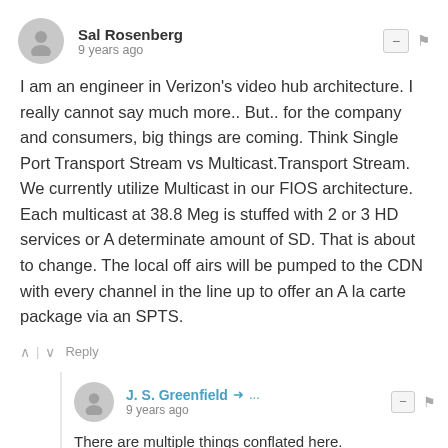Sal Rosenberg
9 years ago
I am an engineer in Verizon's video hub architecture. I really cannot say much more.. But.. for the company and consumers, big things are coming. Think Single Port Transport Stream vs Multicast.Transport Stream. We currently utilize Multicast in our FIOS architecture. Each multicast at 38.8 Meg is stuffed with 2 or 3 HD services or A determinate amount of SD. That is about to change. The local off airs will be pumped to the CDN with every channel in the line up to offer an A la carte package via an SPTS.
Reply
J. S. Greenfield
9 years ago
There are multiple things conflated here.